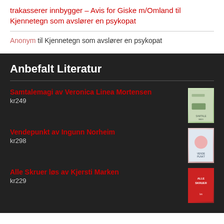trakasserer innbygger – Avis for Giske m/Omland til Kjennetegn som avslører en psykopat
Anonym til Kjennetegn som avslører en psykopat
Anbefalt Literatur
Samtalemagi av Veronica Linea Mortensen kr249
Vendepunkt av Ingunn Norheim kr298
Alle Skruer løs av Kjersti Marken kr229